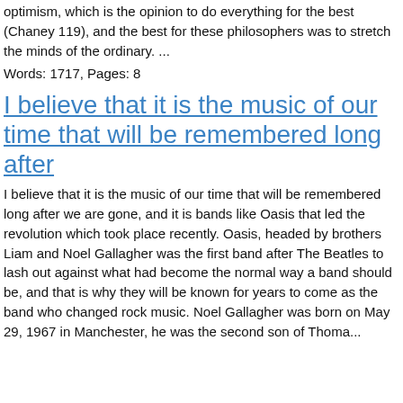optimism, which is the opinion to do everything for the best (Chaney 119), and the best for these philosophers was to stretch the minds of the ordinary. ...
Words: 1717, Pages: 8
I believe that it is the music of our time that will be remembered long after
I believe that it is the music of our time that will be remembered long after we are gone, and it is bands like Oasis that led the revolution which took place recently. Oasis, headed by brothers Liam and Noel Gallagher was the first band after The Beatles to lash out against what had become the normal way a band should be, and that is why they will be known for years to come as the band who changed rock music. Noel Gallagher was born on May 29, 1967 in Manchester, he was the second son of Thoma...